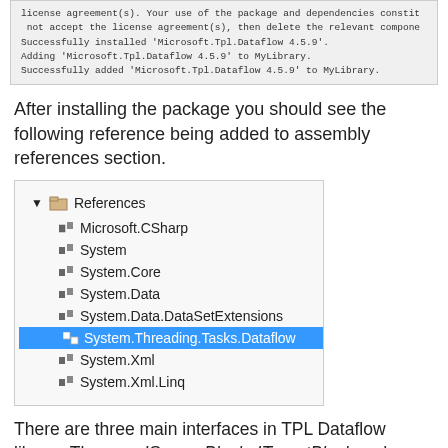[Figure (screenshot): Terminal/console output showing NuGet package installation messages for Microsoft.Tpl.Dataflow 4.5.9]
After installing the package you should see the following reference being added to assembly references section.
[Figure (screenshot): Visual Studio References panel showing: Microsoft.CSharp, System, System.Core, System.Data, System.Data.DataSetExtensions, System.Threading.Tasks.Dataflow (highlighted in blue), System.Xml, System.Xml.Linq]
There are three main interfaces in TPL Dataflow library. They are ISourceBlock, ITargetBlock and IPropagatorBlock. All blocks are inherited from IDataflowBlock. This becomes very useful while chaining of different blocks to construct a